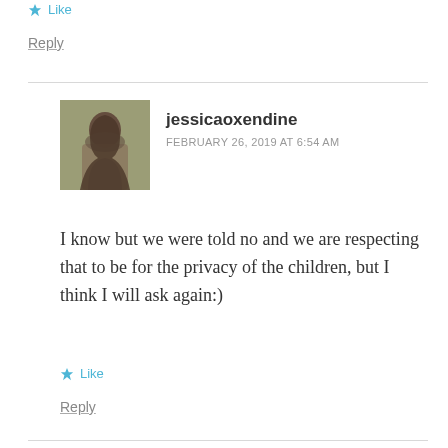★ Like
Reply
jessicaoxendine
FEBRUARY 26, 2019 AT 6:54 AM
I know but we were told no and we are respecting that to be for the privacy of the children, but I think I will ask again:)
★ Like
Reply